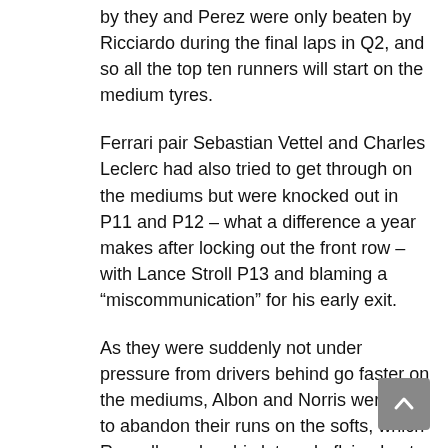by they and Perez were only beaten by Ricciardo during the final laps in Q2, and so all the top ten runners will start on the medium tyres.
Ferrari pair Sebastian Vettel and Charles Leclerc had also tried to get through on the mediums but were knocked out in P11 and P12 – what a difference a year makes after locking out the front row – with Lance Stroll P13 and blaming a “miscommunication” for his early exit.
As they were suddenly not under pressure from drivers behind go faster on the mediums, Albon and Norris were able to abandon their runs on the softs, which Russell used on his late solo flying lap to take P14, which means he will start ahead of Sainz.
In Q1, Russell escaped the opening segment for the ninth time in 2020, while Antonio Giovinazzi and Kimi Raikkonen were shuffled down as drivers running behind them on the track right at the end of the opening